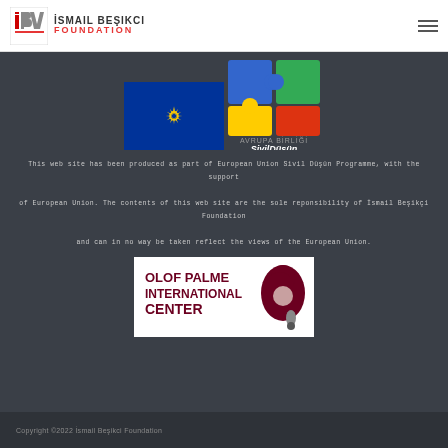İSMAİL BEŞİKCİ FOUNDATION
[Figure (logo): European Union flag logo and Avrupa Birliği SivilDüşün puzzle logo side by side]
This web site has been produced as part of European Union Sivil Düşün Programme, with the support of European Union. The contents of this web site are the sole reponsibility of İsmail Beşikçi Foundation and can in no way be taken reflect the views of the European Union.
[Figure (logo): Olof Palme International Center logo on white background]
Copyright ©2022 İsmail Beşikci Foundation